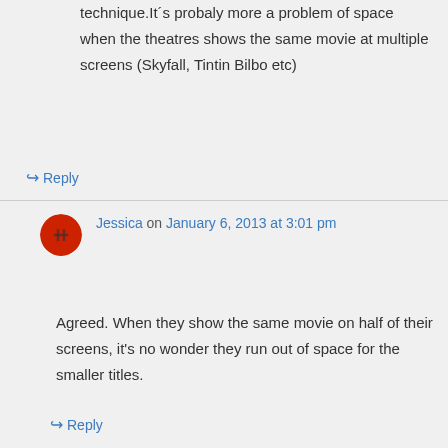technique.It´s probaly more a problem of space when the theatres shows the same movie at multiple screens (Skyfall, Tintin Bilbo etc)
↪ Reply
Jessica on January 6, 2013 at 3:01 pm
Agreed. When they show the same movie on half of their screens, it's no wonder they run out of space for the smaller titles.
↪ Reply